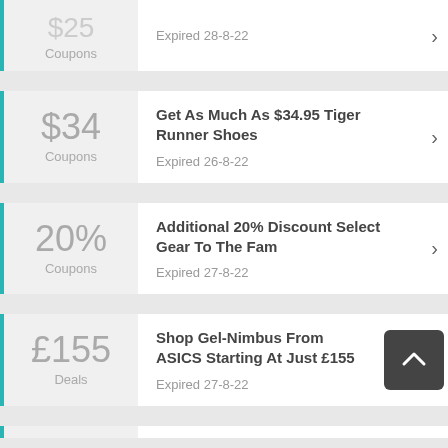$25 Coupons — Expired 28-8-22
$34 Coupons — Get As Much As $34.95 Tiger Runner Shoes — Expired 26-8-22
20% Coupons — Additional 20% Discount Select Gear To The Fam — Expired 27-8-22
£155 Deals — Shop Gel-Nimbus From ASICS Starting At Just £155 — Expired 27-8-22